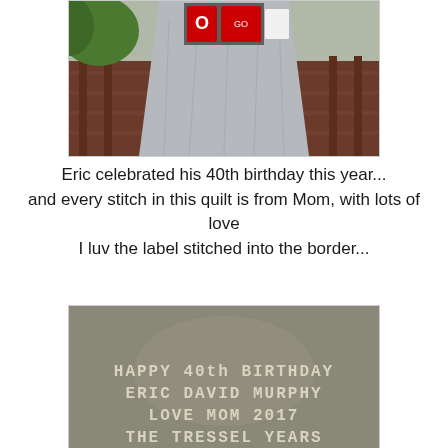[Figure (photo): A gray quilt displayed outdoors on a wooden deck/railing, with sports-themed panels visible at the top including what appears to be Ohio State logos and graphics.]
Eric celebrated his 40th birthday this year...
and every stitch in this quilt is from Mom, with lots of love
I luv the label stitched into the border...
[Figure (photo): Close-up photo of a quilt label stitched into the border, reading: HAPPY 40th BIRTHDAY ERIC DAVID MURPHY LOVE MOM 2017 THE TRESSEL YEARS]